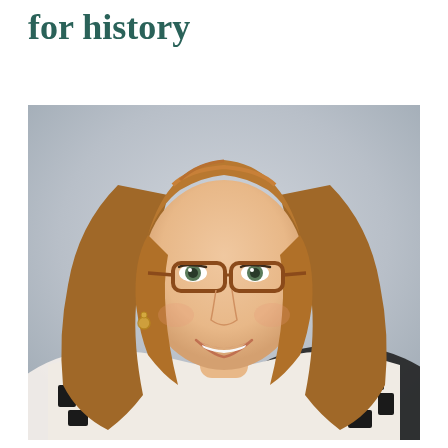for history
[Figure (photo): Professional headshot of a young woman with long brown hair, wearing tortoiseshell glasses, smiling, dressed in a black and white patterned top. Light grey background.]